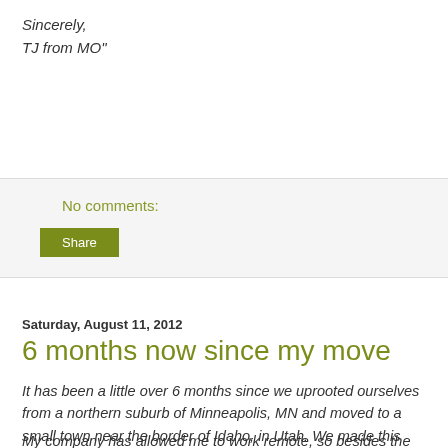Sincerely,
TJ from MO"
No comments:
Share
Saturday, August 11, 2012
6 months now since my move
It has been a little over 6 months since we uprooted ourselves from a northern suburb of Minneapolis, MN and moved to a small town near the border of Idaho, in Utah. We made this move to be closer to family, after my mom's diagnosis of frontotemporal dementia (at age 62!)
My company has allowed me to work remote, so besides the